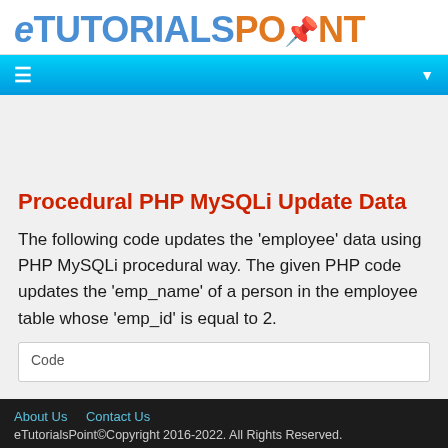eTUTORIALSPOINT
Procedural PHP MySQLi Update Data
The following code updates the 'employee' data using PHP MySQLi procedural way. The given PHP code updates the 'emp_name' of a person in the employee table whose 'emp_id' is equal to 2.
About Us   Contact Us
eTutorialsPoint©Copyright 2016-2022. All Rights Reserved.